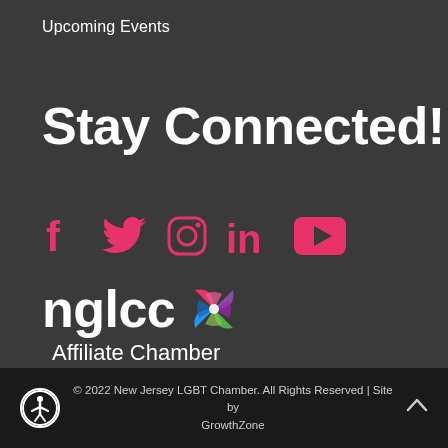Upcoming Events
Stay Connected!
[Figure (illustration): Social media icons: Facebook, Twitter, Instagram, LinkedIn, YouTube — all in pink/red color on dark background]
[Figure (logo): NGLCC Affiliate Chamber logo with colorful pinwheel graphic and text 'nglcc Affiliate Chamber']
© 2022 New Jersey LGBT Chamber.  All Rights Reserved | Site by GrowthZone